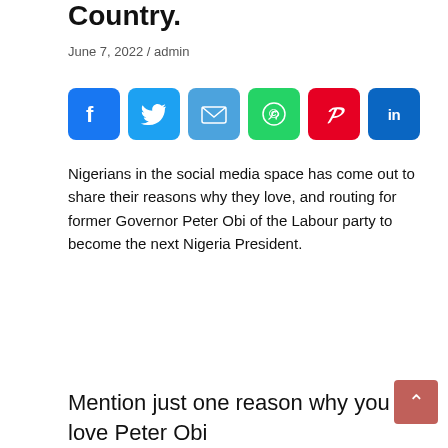Country.
June 7, 2022 / admin
[Figure (infographic): Social media share icons: Facebook, Twitter, Email, WhatsApp, Pinterest, LinkedIn, and a plus button]
Nigerians in the social media space has come out to share their reasons why they love, and routing for former Governor Peter Obi of the Labour party to become the next Nigeria President.
[Figure (screenshot): Tweet from Kaysie (@thekaysie): 'Mention just one reason why you love Peter Obi Me: I love him for his transparency and accountability with public funds.']